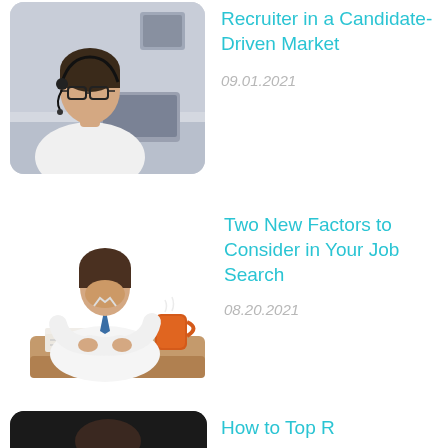[Figure (photo): Woman wearing glasses and a headset, sitting at a desk, photo with rounded corners]
Recruiter in a Candidate-Driven Market
09.01.2021
[Figure (illustration): Illustration of a man in a white shirt and blue tie, slumped over a desk with papers and an orange coffee mug]
Two New Factors to Consider in Your Job Search
08.20.2021
[Figure (photo): Partial view of a dark-background photo at the bottom of the page, partially visible]